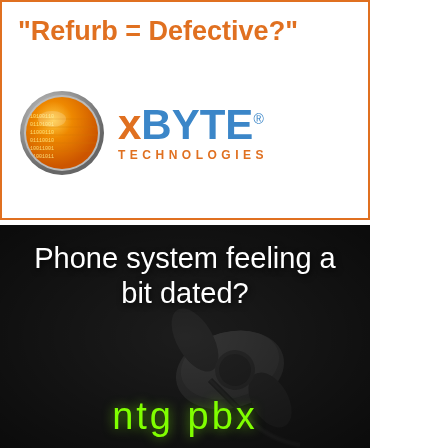[Figure (advertisement): xByte Technologies advertisement with orange border, headline 'Refurb = Defective?' in orange bold text, and xByte Technologies logo with orange globe icon and blue/orange text]
[Figure (advertisement): NTG PBX advertisement with dark/grayscale background showing an old telephone, white text reading 'Phone system feeling a bit dated?' and green text 'ntg pbx' at the bottom]